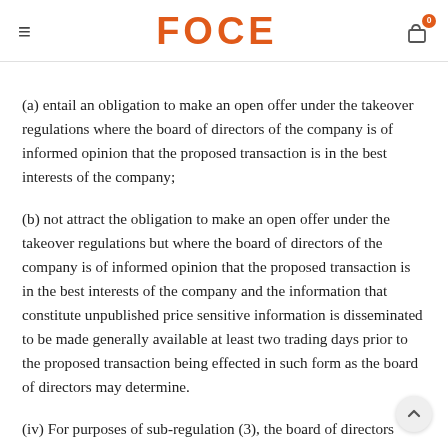FOCE
(a) entail an obligation to make an open offer under the takeover regulations where the board of directors of the company is of informed opinion that the proposed transaction is in the best interests of the company;
(b) not attract the obligation to make an open offer under the takeover regulations but where the board of directors of the company is of informed opinion that the proposed transaction is in the best interests of the company and the information that constitute unpublished price sensitive information is disseminated to be made generally available at least two trading days prior to the proposed transaction being effected in such form as the board of directors may determine.
(iv) For purposes of sub-regulation (3), the board of directors shall require the parties to execute agreements to contract confidentiality and non-disclosure obligations on the part of such...